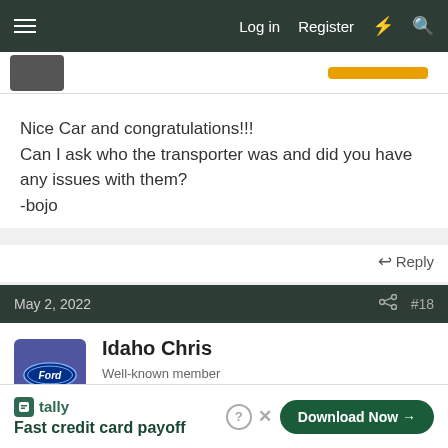Log in   Register
Nice Car and congratulations!!!
Can I ask who the transporter was and did you have any issues with them?
-bojo
Reply
May 2, 2022   #18
Idaho Chris
Well-known member   7173 Mustang Supporter Member
Welcome from North Idaho. Tell us some more about the car.
Fast credit card payoff   Download Now